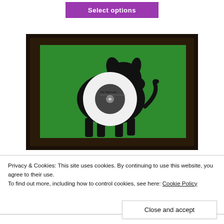Select options
[Figure (photo): A framed artwork featuring a black silhouette of a dog against a bright green background, with a vinyl record (7-inch single) incorporated into the design. The frame is dark/black. The record label reads 'The High-Lows' with additional text.]
Privacy & Cookies: This site uses cookies. By continuing to use this website, you agree to their use. To find out more, including how to control cookies, see here: Cookie Policy
Close and accept